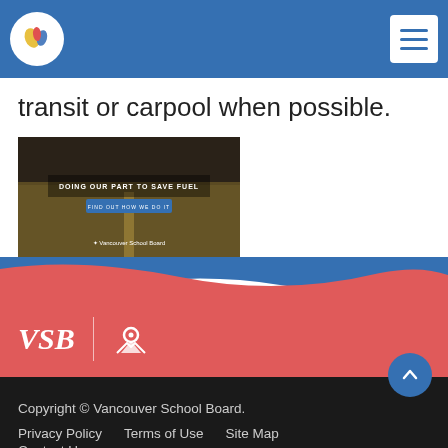VSB logo and navigation menu
transit or carpool when possible.
[Figure (screenshot): Image showing a dark road with text 'DOING OUR PART TO SAVE FUEL' and a blue button, with a logo at the bottom]
[Figure (logo): VSB logo signature and map icon on red/coral background]
Copyright © Vancouver School Board. Privacy Policy   Terms of Use   Site Map Contact Us  SchoolBundle